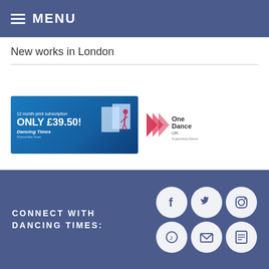MENU
New works in London
[Figure (illustration): Dancing Times 12 month print subscription ad - ONLY £39.50!]
[Figure (logo): One Dance UK - Supporting Dance logo]
CONNECT WITH DANCING TIMES:
[Figure (infographic): Social media icons: Facebook, Twitter, Instagram, Music/iTunes, Email, App/Quill icon]